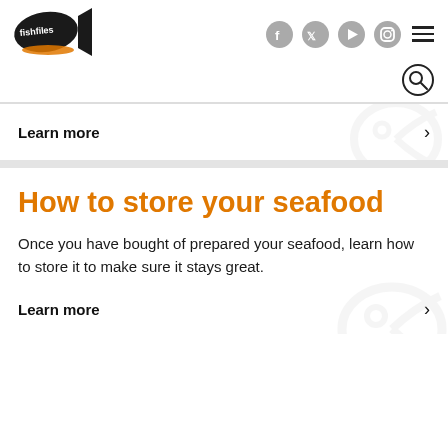[Figure (logo): FishFiles logo - fish shape with text]
Social media icons: Facebook, Twitter, YouTube, Instagram, and hamburger menu
Learn more >
How to store your seafood
Once you have bought of prepared your seafood, learn how to store it to make sure it stays great.
Learn more >